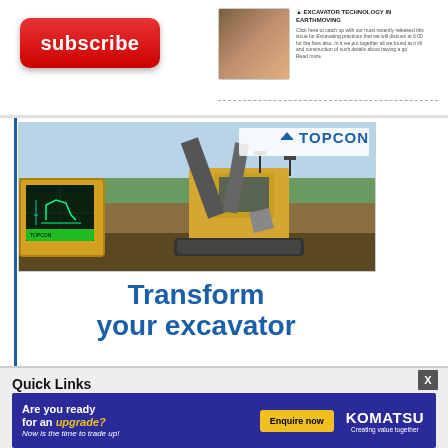[Figure (illustration): Red subscribe button with white text 'subscribe']
[Figure (photo): Small article thumbnail showing a person in safety gear, with article title text and body text beside it]
[Figure (photo): Topcon advertisement featuring a large excavator on a construction site with a tablet/display device overlay in the foreground showing excavator control screen. Topcon logo visible top right.]
Transform your excavator
Quick Links
Earthm...
Earthm...
[Figure (infographic): Komatsu banner ad: 'Are you ready for an upgrade? Now is the time to trade up!' with Enquire now button and Komatsu Creating value together logo]
[Figure (other): X close button for banner]